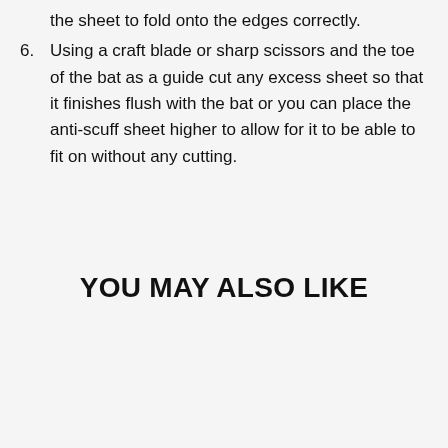the sheet to fold onto the edges correctly.
6. Using a craft blade or sharp scissors and the toe of the bat as a guide cut any excess sheet so that it finishes flush with the bat or you can place the anti-scuff sheet higher to allow for it to be able to fit on without any cutting.
YOU MAY ALSO LIKE